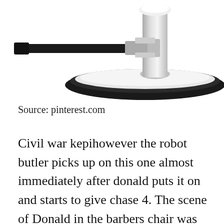[Figure (photo): Partial view of a barber chair with chrome base and black circular footrest, white seat post visible, black handle/lever extending to the left, photographed from above on white background]
Source: pinterest.com
Civil war kepihowever the robot butler picks up on this one almost immediately after donald puts it on and starts to give chase 4. The scene of Donald in the barbers chair was submitted by Carl Barks as his first story contribution at Disney. Modern Inventions pokes f[CLOSE X]odern